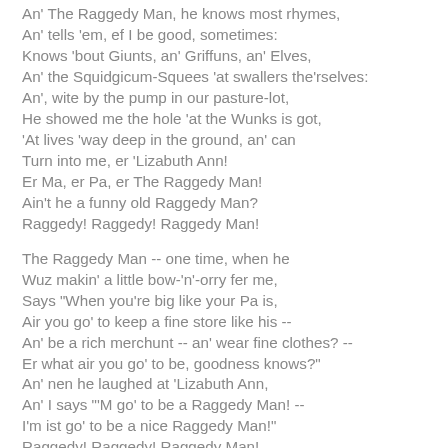An' The Raggedy Man, he knows most rhymes,
An' tells 'em, ef I be good, sometimes:
Knows 'bout Giunts, an' Griffuns, an' Elves,
An' the Squidgicum-Squees 'at swallers the'rselves:
An', wite by the pump in our pasture-lot,
He showed me the hole 'at the Wunks is got,
'At lives 'way deep in the ground, an' can
Turn into me, er 'Lizabuth Ann!
Er Ma, er Pa, er The Raggedy Man!
Ain't he a funny old Raggedy Man?
Raggedy! Raggedy! Raggedy Man!
The Raggedy Man -- one time, when he
Wuz makin' a little bow-'n'-orry fer me,
Says "When you're big like your Pa is,
Air you go' to keep a fine store like his --
An' be a rich merchunt -- an' wear fine clothes? --
Er what air you go' to be, goodness knows?"
An' nen he laughed at 'Lizabuth Ann,
An' I says "'M go' to be a Raggedy Man! --
I'm ist go' to be a nice Raggedy Man!"
Raggedy! Raggedy! Raggedy Man!